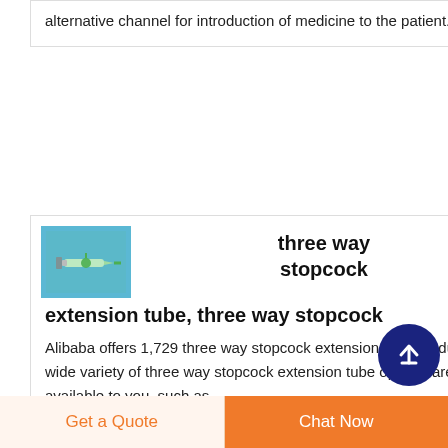alternative channel for introduction of medicine to the patient.
three way stopcock extension tube, three way stopcock
Alibaba offers 1,729 three way stopcock extension tube products. A wide variety of three way stopcock extension tube options are available to you, such as
[Figure (photo): Small product thumbnail showing a green three-way stopcock with extension tube against blue background]
Get a Quote
Chat Now